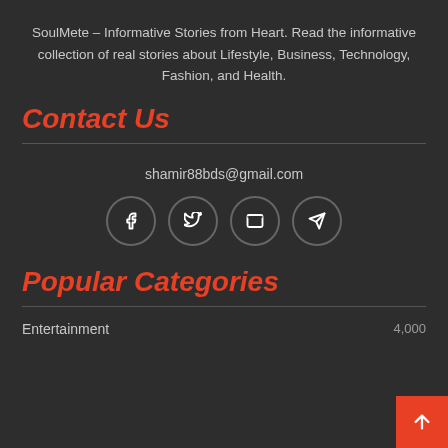SoulMete – Informative Stories from Heart. Read the informative collection of real stories about Lifestyle, Business, Technology, Fashion, and Health.
Contact Us
shamir88bds@gmail.com
[Figure (infographic): Four circular social media icon buttons: Facebook (f), Twitter (bird), Email (envelope), Telegram (paper plane)]
Popular Categories
Entertainment